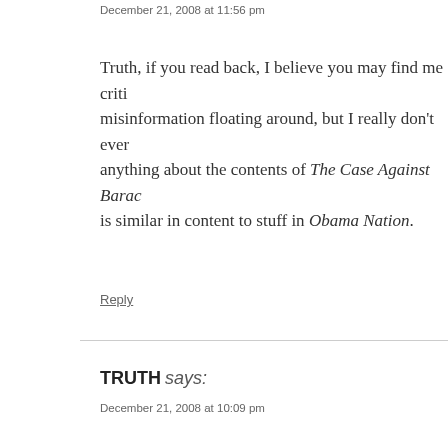December 21, 2008 at 11:56 pm
Truth, if you read back, I believe you may find me criti misinformation floating around, but I really don't ever anything about the contents of The Case Against Barac is similar in content to stuff in Obama Nation.
Reply
TRUTH says:
December 21, 2008 at 10:09 pm
WOW!!, Do I need to define why conservatives use tho don't think THAT is trashing do you?
And that is right, you did NOT read the book, and you book you got from me, PLEASE! Don't make me go se the comments you pulled from other liberal posts elsew or at least what they think is misquotes. You passed jud